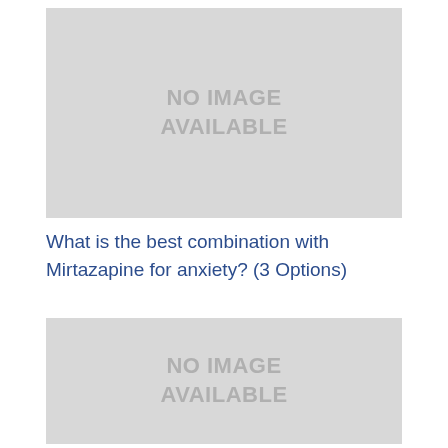[Figure (other): Placeholder image — grey rectangle with text NO IMAGE AVAILABLE]
What is the best combination with Mirtazapine for anxiety? (3 Options)
[Figure (other): Placeholder image — grey rectangle with text NO IMAGE AVAILABLE]